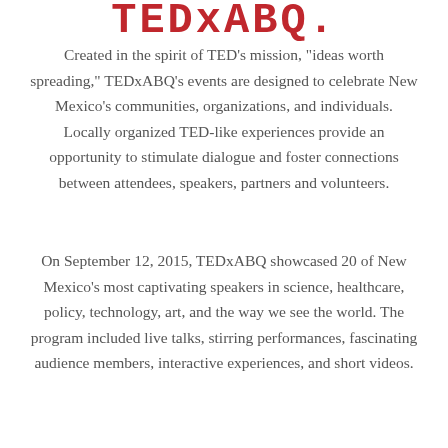TEDxABQ.
Created in the spirit of TED’s mission, “ideas worth spreading,” TEDxABQ’s events are designed to celebrate New Mexico’s communities, organizations, and individuals. Locally organized TED-like experiences provide an opportunity to stimulate dialogue and foster connections between attendees, speakers, partners and volunteers.
On September 12, 2015, TEDxABQ showcased 20 of New Mexico’s most captivating speakers in science, healthcare, policy, technology, art, and the way we see the world. The program included live talks, stirring performances, fascinating audience members, interactive experiences, and short videos.